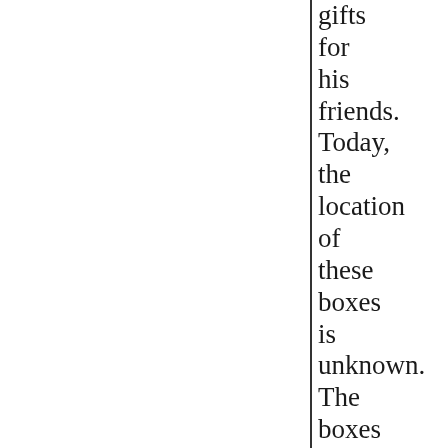gifts for his friends. Today, the location of these boxes is unknown. The boxes are scattered and anonymous, except